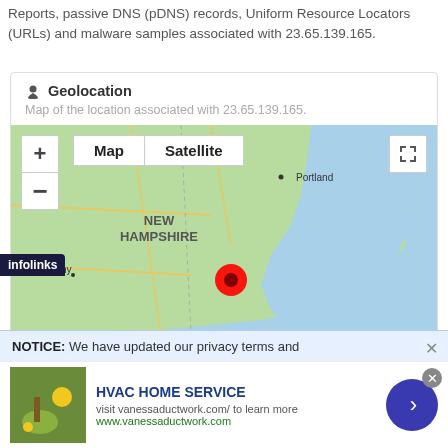Reports, passive DNS (pDNS) records, Uniform Resource Locators (URLs) and malware samples associated with 23.65.139.165.
Geolocation
Map of the location associated with 23.65.139.165.
[Figure (map): Google Maps view showing New Hampshire and surrounding area with a red location pin marker, with Map/Satellite toggle and zoom controls.]
NOTICE: We have updated our privacy terms and
HVAC HOME SERVICE
visit vanessaductwork.com/ to learn more
www.vanessaductwork.com